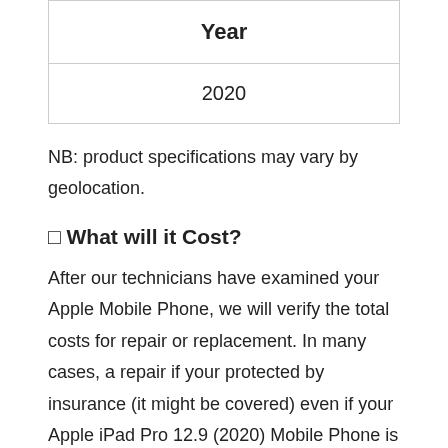| Year |
| --- |
| 2020 |
NB: product specifications may vary by geolocation.
🔲 What will it Cost?
After our technicians have examined your Apple Mobile Phone, we will verify the total costs for repair or replacement. In many cases, a repair if your protected by insurance (it might be covered) even if your Apple iPad Pro 12.9 (2020) Mobile Phone is out of warranty, a plus is customers may